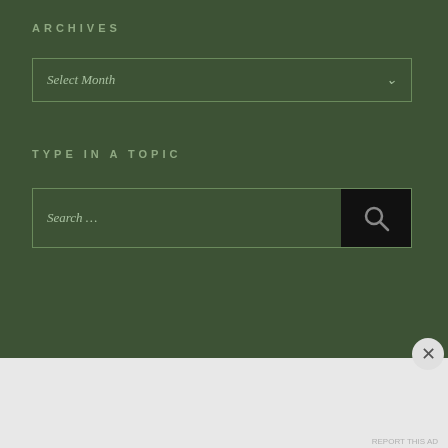ARCHIVES
[Figure (screenshot): Select Month dropdown widget on dark green background]
TYPE IN A TOPIC
[Figure (screenshot): Search input box with search icon button on dark green background]
Advertisements
[Figure (screenshot): WordPress advertisement banner: Opinions. We all have them! with WordPress and NOW logos on dark navy background]